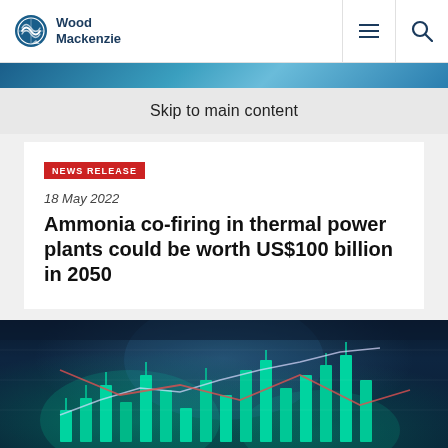Wood Mackenzie
Skip to main content
NEWS RELEASE
18 May 2022
Ammonia co-firing in thermal power plants could be worth US$100 billion in 2050
[Figure (photo): Financial data visualization with glowing teal candlestick bars and trend lines on a dark blue background]